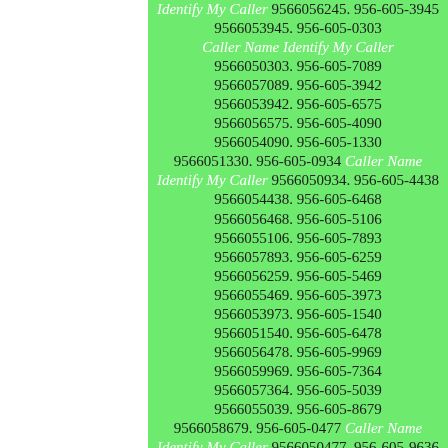Identify My Caller 9566056245. 956-605-3945 9566053945. 956-605-0303 Caller Name Identify My Caller 9566050303. 956-605-7089 9566057089. 956-605-3942 9566053942. 956-605-6575 9566056575. 956-605-4090 9566054090. 956-605-1330 9566051330. 956-605-0934 Caller Name Identify My Caller 9566050934. 956-605-4438 9566054438. 956-605-6468 9566056468. 956-605-5106 9566055106. 956-605-7893 9566057893. 956-605-6259 9566056259. 956-605-5469 9566055469. 956-605-3973 9566053973. 956-605-1540 9566051540. 956-605-6478 9566056478. 956-605-9969 9566059969. 956-605-7364 9566057364. 956-605-5039 9566055039. 956-605-8679 9566058679. 956-605-0477 Caller Name Identify My Caller 9566050477. 956-605-9636 9566059636. 956-605-7937 9566057937. 956-605-2208